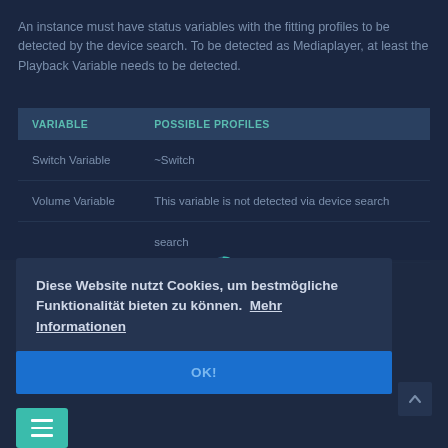An instance must have status variables with the fitting profiles to be detected by the device search. To be detected as Mediaplayer, at least the Playback Variable needs to be detected.
| VARIABLE | POSSIBLE PROFILES |
| --- | --- |
| Switch Variable | ~Switch |
| Volume Variable | This variable is not detected via device search |
|  | search |
Diese Website nutzt Cookies, um bestmögliche Funktionalität bieten zu können.  Mehr Informationen
OK!